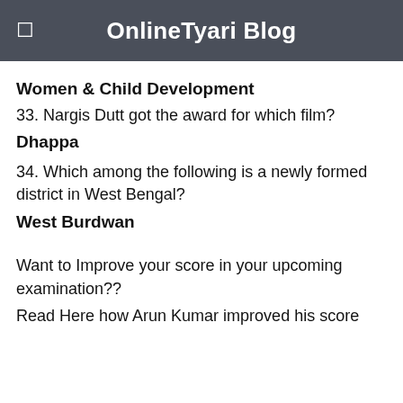OnlineTyari Blog
Women & Child Development
33. Nargis Dutt got the award for which film?
Dhappa
34. Which among the following is a newly formed district in West Bengal?
West Burdwan
Want to Improve your score in your upcoming examination??
Read Here how Arun Kumar improved his score